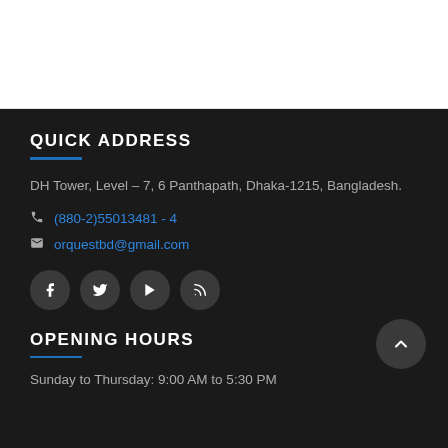QUICK ADDRESS
DH Tower, Level – 7, 6 Panthapath, Dhaka-1215, Bangladesh.
(880-2)55013481 - 4
orquestbd@gmail.com
[Figure (infographic): Four social media icon buttons: Facebook, Twitter, YouTube, RSS feed — dark grey circular buttons with white icons]
OPENING HOURS
Sunday to Thursday: 9:00 AM to 5:30 PM